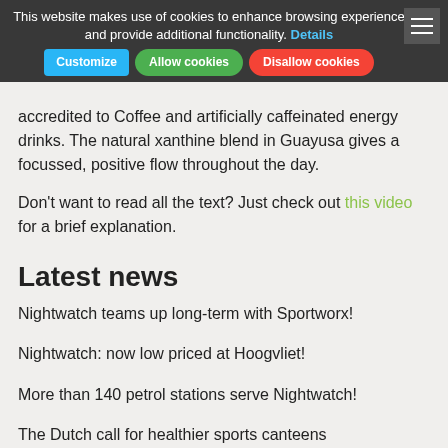This website makes use of cookies to enhance browsing experience and provide additional functionality. Details | Customize | Allow cookies | Disallow cookies
accredited to Coffee and artificially caffeinated energy drinks. The natural xanthine blend in Guayusa gives a focussed, positive flow throughout the day.
Don’t want to read all the text? Just check out this video for a brief explanation.
Latest news
Nightwatch teams up long-term with Sportworx!
Nightwatch: now low priced at Hoogvliet!
More than 140 petrol stations serve Nightwatch!
The Dutch call for healthier sports canteens